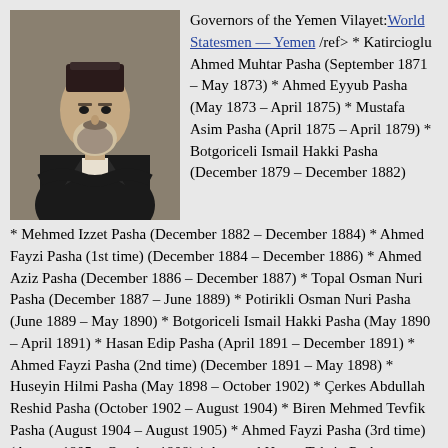[Figure (photo): Black and white portrait photograph of an elderly man wearing a fez and formal suit with a beard]
Governors of the Yemen Vilayet:World Statesmen — Yemen /ref> * Katircioglu Ahmed Muhtar Pasha (September 1871 – May 1873) * Ahmed Eyyub Pasha (May 1873 – April 1875) * Mustafa Asim Pasha (April 1875 – April 1879) * Botgoriceli Ismail Hakki Pasha (December 1879 – December 1882) * Mehmed Izzet Pasha (December 1882 – December 1884) * Ahmed Fayzi Pasha (1st time) (December 1884 – December 1886) * Ahmed Aziz Pasha (December 1886 – December 1887) * Topal Osman Nuri Pasha (December 1887 – June 1889) * Potirikli Osman Nuri Pasha (June 1889 – May 1890) * Botgoriceli Ismail Hakki Pasha (May 1890 – April 1891) * Hasan Edip Pasha (April 1891 – December 1891) * Ahmed Fayzi Pasha (2nd time) (December 1891 – May 1898) * Huseyin Hilmi Pasha (May 1898 – October 1902) * Çerkes Abdullah Reshid Pasha (October 1902 – August 1904) * Biren Mehmed Tevfik Pasha (August 1904 – August 1905) * Ahmed Fayzi Pasha (3rd time) (August 1905 – October 1908) * Arnavud Hasan Tahsin Pasha (October 1908 – January 1910) * Kamil Bey (January 1910 – April 1910) * Mehmed Ali Pasha (governor),